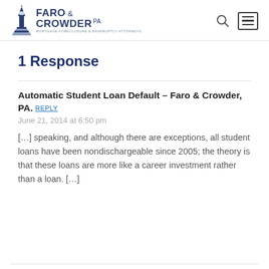FARO & CROWDER PA
1 Response
Automatic Student Loan Default – Faro & Crowder, PA.
June 21, 2014 at 6:50 pm
[…] speaking, and although there are exceptions, all student loans have been nondischargeable since 2005; the theory is that these loans are more like a career investment rather than a loan. […]